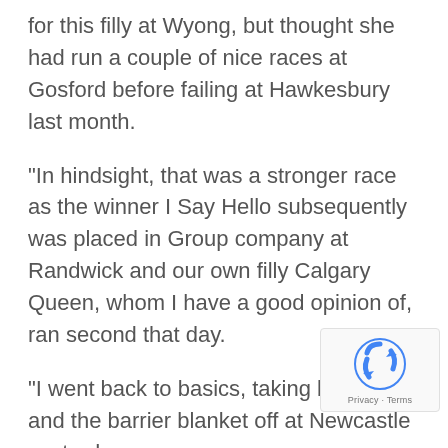for this filly at Wyong, but thought she had run a couple of nice races at Gosford before failing at Hawkesbury last month.
“In hindsight, that was a stronger race as the winner I Say Hello subsequently was placed in Group company at Randwick and our own filly Calgary Queen, whom I have a good opinion of, ran second that day.
“I went back to basics, taking blinkers and the barrier blanket off at Newcastle yesterday.
“I had been using the blanket as she had been slow to jump.
“She still began awkwardly yesterday, but